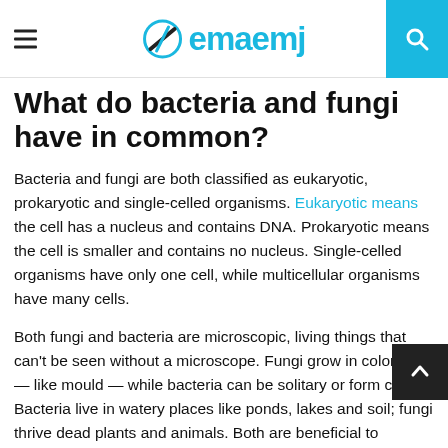emaemj
What do bacteria and fungi have in common?
Bacteria and fungi are both classified as eukaryotic, prokaryotic and single-celled organisms. Eukaryotic means the cell has a nucleus and contains DNA. Prokaryotic means the cell is smaller and contains no nucleus. Single-celled organisms have only one cell, while multicellular organisms have many cells.
Both fungi and bacteria are microscopic, living things that can't be seen without a microscope. Fungi grow in colonies — like mould — while bacteria can be solitary or form chains. Bacteria live in watery places like ponds, lakes and soil; fungi thrive dead plants and animals. Both are beneficial to humans because they help break down waste materials into nutrients for plants to use for food production.